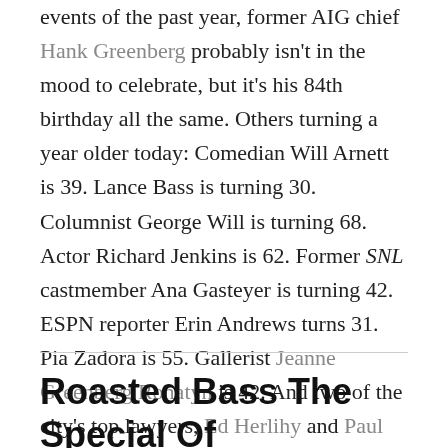events of the past year, former AIG chief Hank Greenberg probably isn't in the mood to celebrate, but it's his 84th birthday all the same. Others turning a year older today: Comedian Will Arnett is 39. Lance Bass is turning 30. Columnist George Will is turning 68. Actor Richard Jenkins is 62. Former SNL castmember Ana Gasteyer is turning 42. ESPN reporter Erin Andrews turns 31. Pia Zadora is 55. Gallerist Jeanne Greenberg Rohatyn is 42. And two of the city's top lawyers, Ed Herlihy and Paul Roth are turning 62 and 70, respectively.
Roasted Bass The Special Of